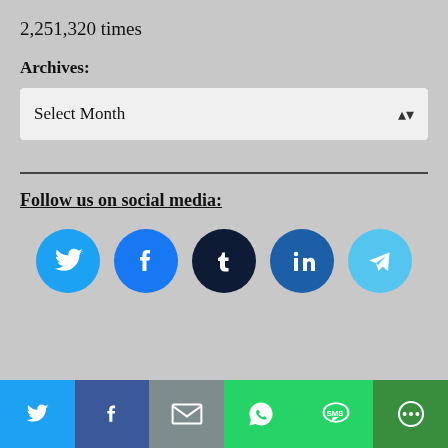2,251,320 times
Archives:
Select Month
Follow us on social media:
[Figure (infographic): Social media icons: Twitter (light blue circle), Facebook (blue circle), Tumblr (dark navy circle), LinkedIn (blue circle), Telegram (light blue circle)]
[Figure (infographic): Share bar at bottom: Twitter (blue), Facebook (dark blue), Email (gray), WhatsApp (green), SMS (green), More (dark green)]